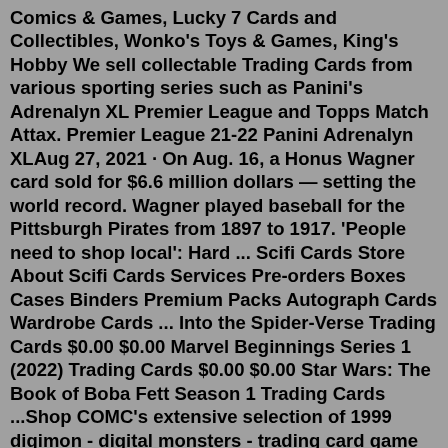Comics & Games, Lucky 7 Cards and Collectibles, Wonko's Toys & Games, King's Hobby We sell collectable Trading Cards from various sporting series such as Panini's Adrenalyn XL Premier League and Topps Match Attax. Premier League 21-22 Panini Adrenalyn XLAug 27, 2021 · On Aug. 16, a Honus Wagner card sold for $6.6 million dollars — setting the world record. Wagner played baseball for the Pittsburgh Pirates from 1897 to 1917. 'People need to shop local': Hard ... Scifi Cards Store About Scifi Cards Services Pre-orders Boxes Cases Binders Premium Packs Autograph Cards Wardrobe Cards ... Into the Spider-Verse Trading Cards $0.00 $0.00 Marvel Beginnings Series 1 (2022) Trading Cards $0.00 $0.00 Star Wars: The Book of Boba Fett Season 1 Trading Cards ...Shop COMC's extensive selection of 1999 digimon - digital monsters - trading card game [base] - unlimited gaming cards. Buy from many sellers and get your cards all in one shipment! Rookie cards, autographs and more.213,161. Items in